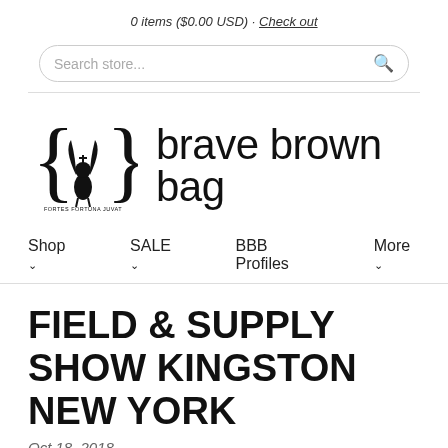0 items ($0.00 USD) · Check out
[Figure (screenshot): Search store... input box with search icon, rounded border]
[Figure (logo): Brave Brown Bag logo: curly brace emblem with a winged cat-like creature and a cross, next to the text 'brave brown bag' in a tall narrow font]
Shop  SALE  BBB Profiles  More
FIELD & SUPPLY SHOW KINGSTON NEW YORK
Oct 18, 2018